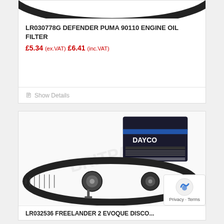[Figure (photo): Top portion of oil filter ring/gasket product photo cropped at top of page]
LR030778G DEFENDER PUMA 90110 ENGINE OIL FILTER
£5.34 (ex.VAT) £6.41 (inc.VAT)
Show Details
[Figure (photo): Dayco timing belt kit product photo showing black box with Dayco branding, toothed timing belt, tensioner pulley, and idler pulley arranged together, with BritPart watermark overlay]
LR032536 FREELANDER 2 EVOQUE DISCO...